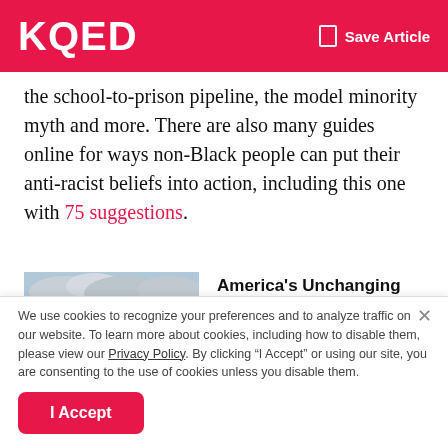KQED  Save Article
the school-to-prison pipeline, the model minority myth and more. There are also many guides online for ways non-Black people can put their anti-racist beliefs into action, including this one with 75 suggestions.
[Figure (photo): A sand castle on a beach with an American flag on top, ocean and cloudy sky in the background.]
America's Unchanging Sands
We use cookies to recognize your preferences and to analyze traffic on our website. To learn more about cookies, including how to disable them, please view our Privacy Policy. By clicking “I Accept” or using our site, you are consenting to the use of cookies unless you disable them.